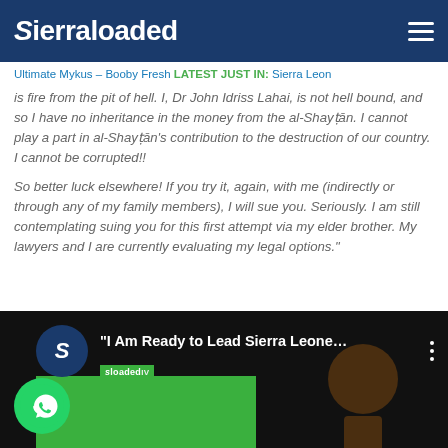Sierraloaded
Ultimate Mykus – Booby Fresh LATEST JUST IN: Sierra Leon
is fire from the pit of hell. I, Dr John Idriss Lahai, is not hell bound, and so I have no inheritance in the money from the al-Shayṭān. I cannot play a part in al-Shayṭān's contribution to the destruction of our country. I cannot be corrupted!!

So better luck elsewhere! If you try it, again, with me (indirectly or through any of my family members), I will sue you. Seriously. I am still contemplating suing you for this first attempt via my elder brother. My lawyers and I are currently evaluating my legal options."
[Figure (screenshot): Video thumbnail showing 'I Am Ready to Lead Sierra Leone O...' with Sierraloaded TV branding, a green rectangle, and a partial face]